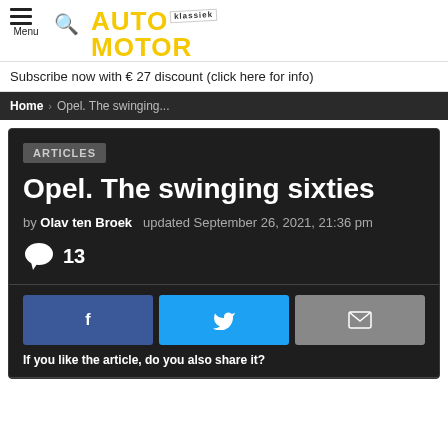AUTO MOTOR klassiek — Menu
Subscribe now with € 27 discount (click here for info)
Home › Opel. The swinging...
ARTICLES
Opel. The swinging sixties
by Olav ten Broek   updated September 26, 2021, 21:36 pm
13
If you like the article, do you also share it?